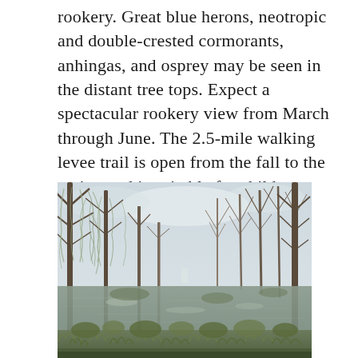rookery. Great blue herons, neotropic and double-crested cormorants, anhingas, and osprey may be seen in the distant tree tops. Expect a spectacular rookery view from March through June. The 2.5-mile walking levee trail is open from the fall to the spring and is suitable for children.
[Figure (photo): A wetland swamp scene with cypress trees draped in Spanish moss, standing in still reflective water with marsh vegetation in the foreground, a pale overcast sky above.]